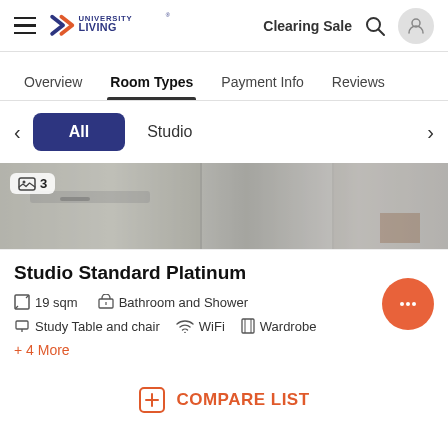University Living — Clearing Sale
Overview  Room Types  Payment Info  Reviews
All  Studio
[Figure (photo): Interior photo of a studio room showing drawers and furniture]
Studio Standard Platinum
19 sqm   Bathroom and Shower
Study Table and chair   WiFi   Wardrobe
+ 4 More
COMPARE LIST